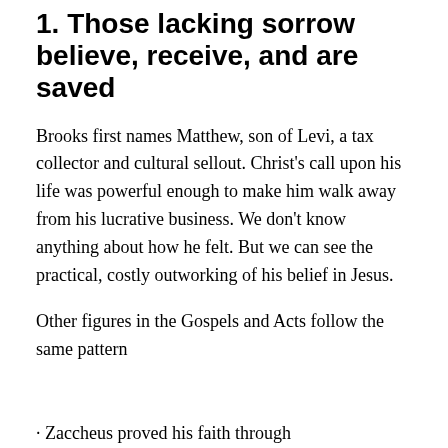1. Those lacking sorrow believe, receive, and are saved
Brooks first names Matthew, son of Levi, a tax collector and cultural sellout. Christ's call upon his life was powerful enough to make him walk away from his lucrative business. We don't know anything about how he felt. But we can see the practical, costly outworking of his belief in Jesus.
Other figures in the Gospels and Acts follow the same pattern
Zaccheus proved his faith through…